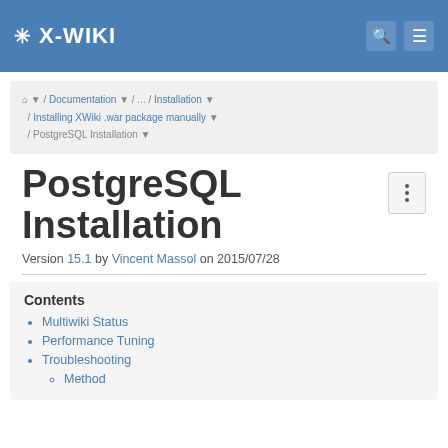✳ X-WIKI
Home / Documentation / ... / Installation / Installing XWiki .war package manually / PostgreSQL Installation
PostgreSQL Installation
Version 15.1 by Vincent Massol on 2015/07/28
Contents
Multiwiki Status
Performance Tuning
Troubleshooting
Method